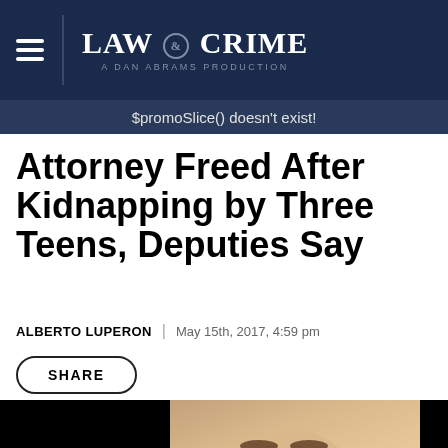LAW & CRIME — A DAN ABRAMS PRODUCTION
$promoSlice() doesn't exist!
Attorney Freed After Kidnapping by Three Teens, Deputies Say
ALBERTO LUPERON | May 15th, 2017, 4:59 pm
SHARE
[Figure (photo): Photo of a man smiling, cropped with black panels on left and right sides]